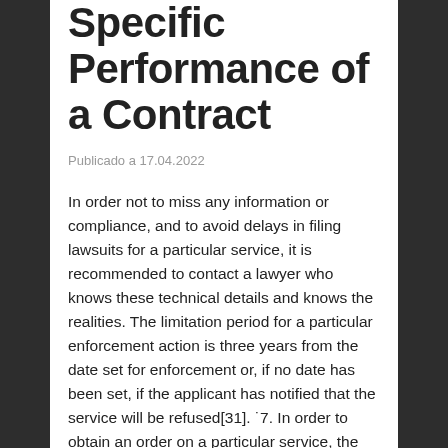Specific Performance of a Contract
Publicado a 17.04.2022
In order not to miss any information or compliance, and to avoid delays in filing lawsuits for a particular service, it is recommended to contact a lawyer who knows these technical details and knows the realities. The limitation period for a particular enforcement action is three years from the date set for enforcement or, if no date has been set, if the applicant has notified that the service will be refused[31]. ˙7. In order to obtain an order on a particular service, the applicant must demonstrate his will and willingness to